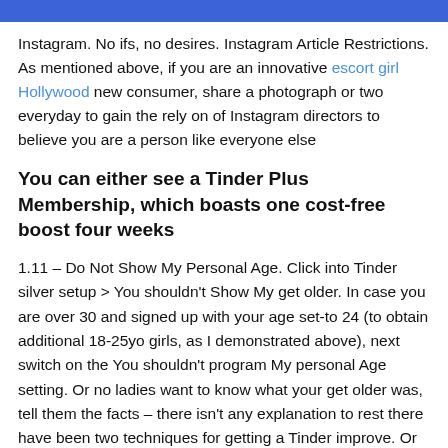Instagram. No ifs, no desires. Instagram Article Restrictions. As mentioned above, if you are an innovative escort girl Hollywood new consumer, share a photograph or two everyday to gain the rely on of Instagram directors to believe you are a person like everyone else
You can either see a Tinder Plus Membership, which boasts one cost-free boost four weeks
1.11 – Do Not Show My Personal Age. Click into Tinder silver setup > You shouldn't Show My get older. In case you are over 30 and signed up with your age set-to 24 (to obtain additional 18-25yo girls, as I demonstrated above), next switch on the You shouldn't program My personal Age setting. Or no ladies want to know what your get older was, tell them the facts – there isn't any explanation to rest there have been two techniques for getting a Tinder improve. Or you can acquire enhances straight. Getting a Tinder Benefit